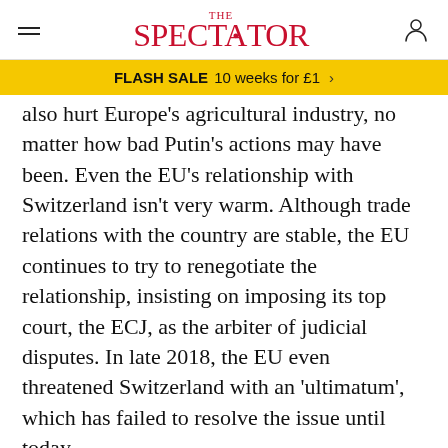THE SPECTATOR
FLASH SALE  10 weeks for £1  >
also hurt Europe's agricultural industry, no matter how bad Putin's actions may have been. Even the EU's relationship with Switzerland isn't very warm. Although trade relations with the country are stable, the EU continues to try to renegotiate the relationship, insisting on imposing its top court, the ECJ, as the arbiter of judicial disputes. In late 2018, the EU even threatened Switzerland with an 'ultimatum', which has failed to resolve the issue until today.
Whether a country is suffering and on its way towards a dictatorship or whether it has a booming economy, it counts for good relations with the